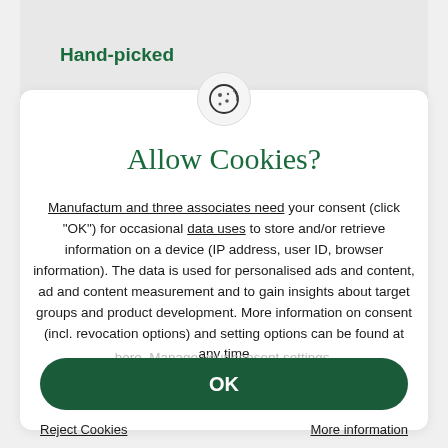Hand-picked
Allow Cookies?
Manufactum and three associates need your consent (click "OK") for occasional data uses to store and/or retrieve information on a device (IP address, user ID, browser information). The data is used for personalised ads and content, ad and content measurement and to gain insights about target groups and product development. More information on consent (incl. revocation options) and setting options can be found at any time
OK
Reject Cookies
More information